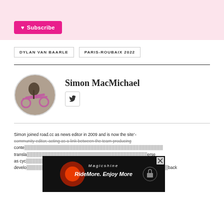[Figure (other): Pink subscribe banner with a pink heart Subscribe button]
DYLAN VAN BAARLE
PARIS-ROUBAIX 2022
[Figure (photo): Circular avatar photo of Simon MacMichael holding a bicycle]
Simon MacMichael
[Figure (logo): Twitter bird icon button]
Simon joined road.cc as news editor in 2009 and is now the site's community editor, acting as a link between the team producing content and the readers. He has been cycling since childhood and translates his passion for the sport into his writing. He has a diverse as cyc... back
[Figure (photo): Magicshine advertisement banner - RideMore. Enjoy More - showing bike lights on a dark background]